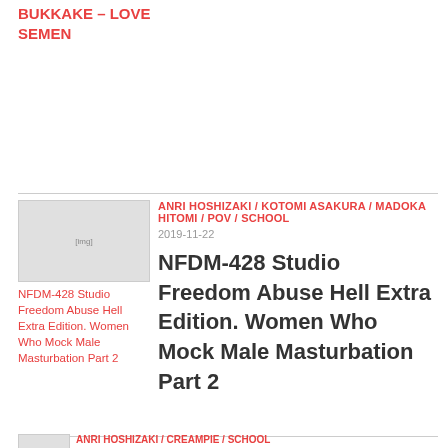BUKKAKE – LOVE SEMEN
ANRI HOSHIZAKI / KOTOMI ASAKURA / MADOKA HITOMI / POV / SCHOOL
2019-11-22
NFDM-428 Studio Freedom Abuse Hell Extra Edition. Women Who Mock Male Masturbation Part 2
[Figure (photo): Thumbnail image for NFDM-428 Studio Freedom Abuse Hell Extra Edition]
NFDM-428 Studio Freedom Abuse Hell Extra Edition. Women Who Mock Male Masturbation Part 2